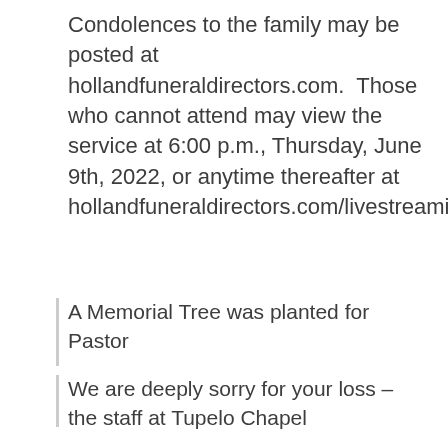Condolences to the family may be posted at hollandfuneraldirectors.com.  Those who cannot attend may view the service at 6:00 p.m., Thursday, June 9th, 2022, or anytime thereafter at hollandfuneraldirectors.com/livestreaming.
A Memorial Tree was planted for Pastor
We are deeply sorry for your loss – the staff at Tupelo Chapel